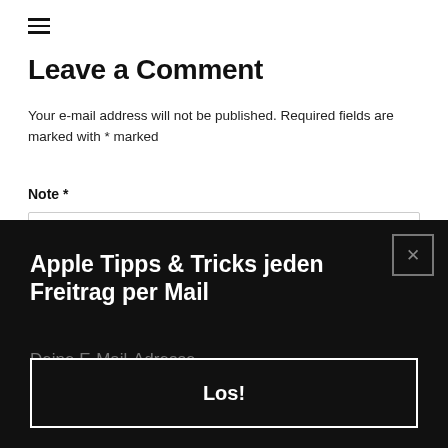Leave a Comment
Your e-mail address will not be published. Required fields are marked with * marked
Note *
[Figure (screenshot): Dark modal overlay popup with title 'Apple Tipps & Tricks jeden Freitrag per Mail', an email input field placeholder 'Deine E-Mail-Adresse', and a 'Los!' submit button with white border on black background. A close button [X] is in the top right corner.]